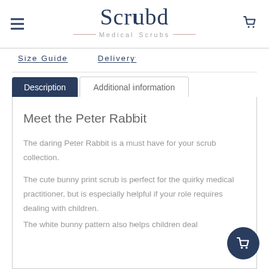Scrubd Medical Scrubs
Size Guide    Delivery
Description    Additional information
Meet the Peter Rabbit
The daring Peter Rabbit is a must have for your scrub collection.
The cute bunny print scrub is perfect for the quirky medical practitioner, but is especially helpful if your role requires dealing with children.
The white bunny pattern also helps children deal...